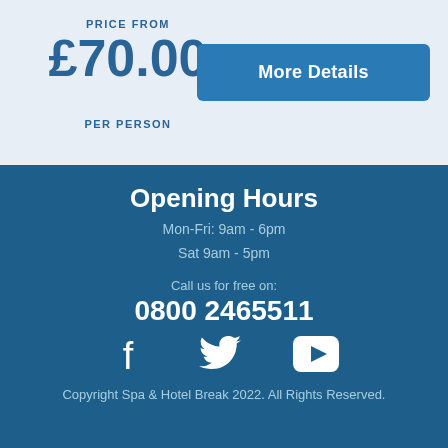PRICE FROM
£70.00
PER PERSON
More Details
Opening Hours
Mon-Fri: 9am - 6pm
Sat 9am - 5pm
Call us for free on:
0800 2465511
Copyright Spa & Hotel Break 2022. All Rights Reserved.